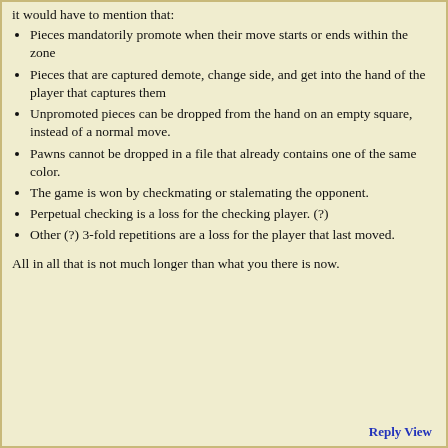it would have to mention that:
Pieces mandatorily promote when their move starts or ends within the zone
Pieces that are captured demote, change side, and get into the hand of the player that captures them
Unpromoted pieces can be dropped from the hand on an empty square, instead of a normal move.
Pawns cannot be dropped in a file that already contains one of the same color.
The game is won by checkmating or stalemating the opponent.
Perpetual checking is a loss for the checking player. (?)
Other (?) 3-fold repetitions are a loss for the player that last moved.
All in all that is not much longer than what you there is now.
Reply View